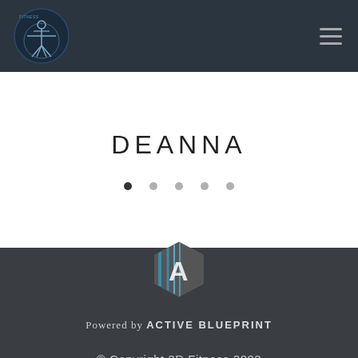[Figure (logo): 3D Fitness logo with Vitruvian man figure in dark navy circle on dark navigation bar background]
DEANNA
[Figure (other): Pagination dots: 5 dots, first one dark/active, rest light gray]
[Figure (logo): Active Blueprint hexagon logo in gray and blue tones on dark footer]
Powered by ACTIVE BLUEPRINT
© Copyright 3D Fitness 2022